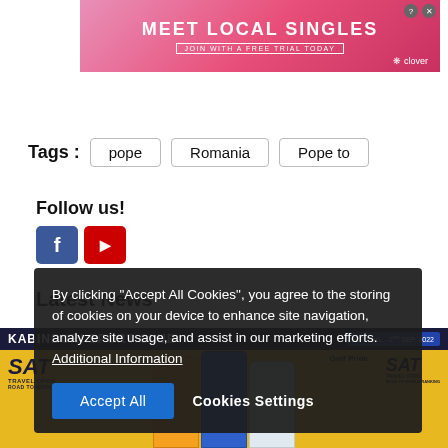[Figure (photo): Advertisement banner reading MEET LOCAL SINGLES with JOIN WITH A FREE TRIAL TODAY and Clover branding on pink/red gradient background]
Tags :
pope
Romania
Pope to
Follow us!
[Figure (logo): Social media icons: Facebook (blue) and YouTube (red)]
Latest News
[Figure (photo): SAT Travel Open golf tournament photo at Kabinburi Sport Club, 31st Aug - 2nd Sep 2022. Yellow branded background with three people holding a trophy and check.]
By clicking "Accept All Cookies", you agree to the storing of cookies on your device to enhance site navigation, analyze site usage, and assist in our marketing efforts. Additional Information
Accept All
Cookies Settings